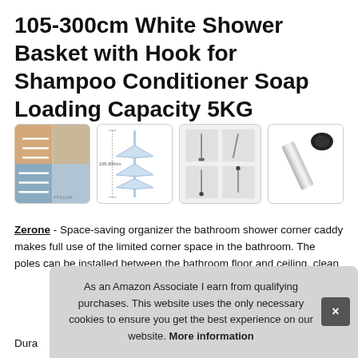105-300cm White Shower Basket with Hook for Shampoo Conditioner Soap Loading Capacity 5KG
[Figure (photo): Four product thumbnails: (1) corner shower caddy installed in bathroom corner with shelves, (2) technical dimension diagram of the pole caddy, (3) four-panel installation step diagram, (4) close-up of the chrome pole with rubber end cap]
Zerone - Space-saving organizer the bathroom shower corner caddy makes full use of the limited corner space in the bathroom. The poles can be installed between the bathroom floor and ceiling, clean...
Dura...
As an Amazon Associate I earn from qualifying purchases. This website uses the only necessary cookies to ensure you get the best experience on our website. More information